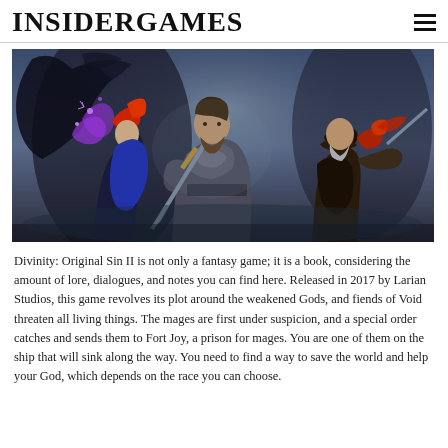INSIDERGAMES
[Figure (illustration): Fantasy RPG game artwork showing multiple characters including a warrior in armor holding a sword, a mage with red hair and purple magic, a dark shadowy figure, and a pirate-like character, in a dramatic battle scene.]
Divinity: Original Sin II is not only a fantasy game; it is a book, considering the amount of lore, dialogues, and notes you can find here. Released in 2017 by Larian Studios, this game revolves its plot around the weakened Gods, and fiends of Void threaten all living things. The mages are first under suspicion, and a special order catches and sends them to Fort Joy, a prison for mages. You are one of them on the ship that will sink along the way. You need to find a way to save the world and help your God, which depends on the race you can choose.